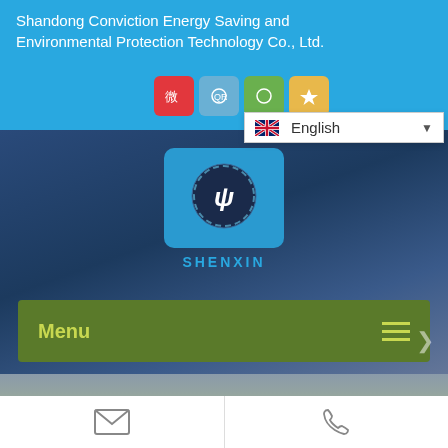Shandong Conviction Energy Saving and Environmental Protection Technology Co., Ltd.
[Figure (screenshot): Social media icons: red Weibo, light blue, green, and yellow/gold colored icon buttons]
[Figure (screenshot): Language dropdown showing UK flag and 'English' with dropdown arrow]
[Figure (logo): Shenxin company logo: blue rounded rectangle with circular emblem containing stylized letters, text 'SHENXIN' below in blue]
Menu
[Figure (screenshot): Website screenshot background showing dark blue gradient industrial/sky scene]
[Figure (screenshot): Bottom bar with email envelope icon on left and phone handset icon on right, separated by vertical divider]